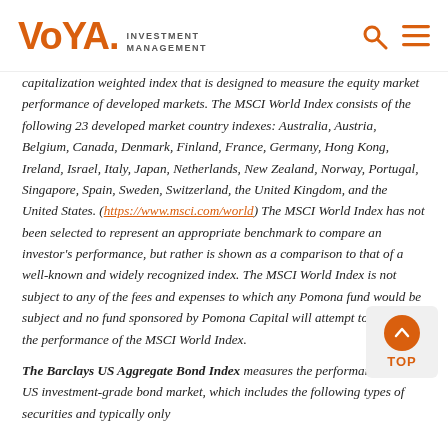VOYA. INVESTMENT MANAGEMENT
capitalization weighted index that is designed to measure the equity market performance of developed markets. The MSCI World Index consists of the following 23 developed market country indexes: Australia, Austria, Belgium, Canada, Denmark, Finland, France, Germany, Hong Kong, Ireland, Israel, Italy, Japan, Netherlands, New Zealand, Norway, Portugal, Singapore, Spain, Sweden, Switzerland, the United Kingdom, and the United States. (https://www.msci.com/world) The MSCI World Index has not been selected to represent an appropriate benchmark to compare an investor's performance, but rather is shown as a comparison to that of a well-known and widely recognized index. The MSCI World Index is not subject to any of the fees and expenses to which any Pomona fund would be subject and no fund sponsored by Pomona Capital will attempt to replicate the performance of the MSCI World Index.
The Barclays US Aggregate Bond Index measures the performance of the US investment-grade bond market, which includes the following types of securities and typically only